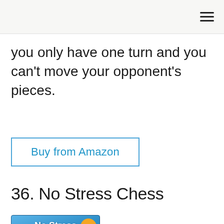≡
you only have one turn and you can't move your opponent's pieces.
Buy from Amazon
36. No Stress Chess
[Figure (photo): Product box of No Stress Chess board game with blue background, chess pieces, and checkered board]